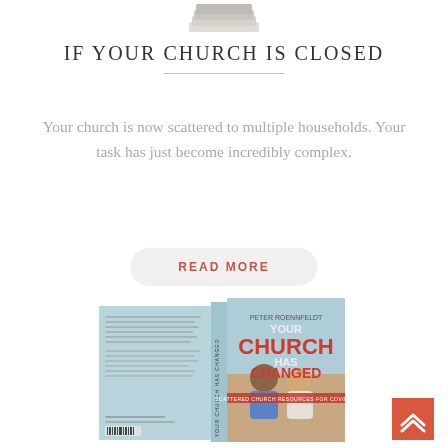[Figure (illustration): Top portion of a book or stack of papers visible at the very top of the page]
IF YOUR CHURCH IS CLOSED
Your church is now scattered to multiple households. Your task has just become incredibly complex.
READ MORE
[Figure (photo): Book cover of 'Your Church Has Changed' by Peter Roennfeldt, showing a man and older woman in conversation on the cover, with light blue spine and back cover text visible.]
[Figure (illustration): Red/coral square button with double upward chevron arrows for scrolling to top]